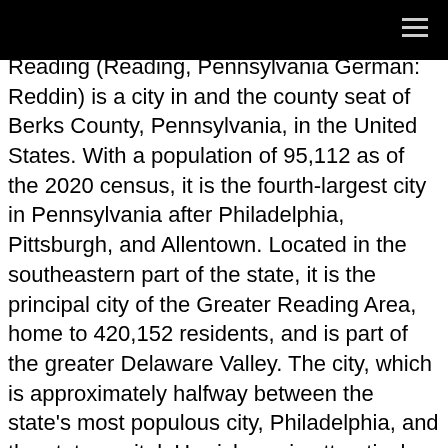[navigation bar with hamburger menu]
Reading (Reading, Pennsylvania German: Reddin) is a city in and the county seat of Berks County, Pennsylvania, in the United States. With a population of 95,112 as of the 2020 census, it is the fourth-largest city in Pennsylvania after Philadelphia, Pittsburgh, and Allentown. Located in the southeastern part of the state, it is the principal city of the Greater Reading Area, home to 420,152 residents, and is part of the greater Delaware Valley. The city, which is approximately halfway between the state's most populous city, Philadelphia, and the state capital, Harrisburg, is attractively situated along a major transportation route from Central to Eastern Pennsylvania, and lent its name to the now-defunct Reading Railroad, which transported anthracite coal from the Pennsylvania Coal Region to the eastern United States via the